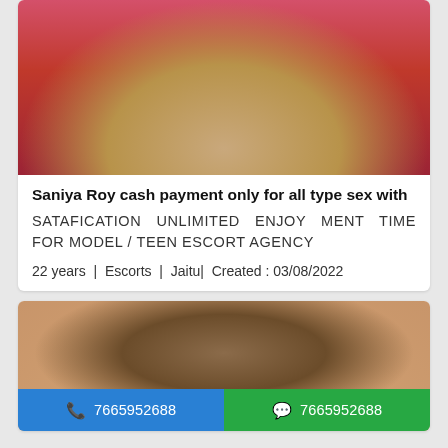[Figure (photo): Photo of a young woman in a red floral outfit seated at a table, hair down, with a light blue strap visible]
Saniya Roy cash payment only for all type sex with
SATAFICATION UNLIMITED ENJOY MENT TIME FOR MODEL / TEEN ESCORT AGENCY
22 years | Escorts | Jaitu| Created : 03/08/2022
[Figure (photo): Photo of a young woman taking a selfie in a mirror, smiling, with call and WhatsApp buttons overlaid: 7665952688]